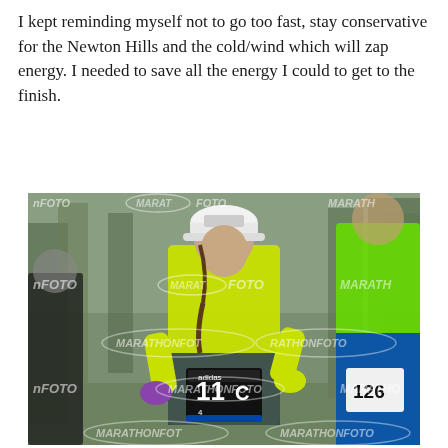I kept reminding myself not to go too fast, stay conservative for the Newton Hills and the cold/wind which will zap energy. I needed to save all the energy I could to get to the finish.
[Figure (photo): Marathon race photo from MarathonFOTO showing a female runner wearing a neon yellow/green jacket, white cap with 'Sava' logo, purple gloves, and a black race bib with number 11 (partially visible), running in the Boston Marathon. Other runners are visible nearby. The photo has repeating 'MARATHONFOTO' watermarks across it.]